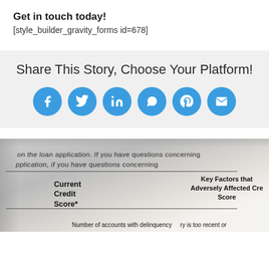Get in touch today!
[style_builder_gravity_forms id=678]
Share This Story, Choose Your Platform!
[Figure (infographic): Six blue circular social media share icons: Facebook, Twitter, LinkedIn, WhatsApp, Pinterest, Email]
[Figure (photo): Close-up photo of a document showing 'Current Credit Score*' and 'Key Factors that Adversely Affected Credit Score' fields, with partial text about loan application and number of accounts with delinquency]